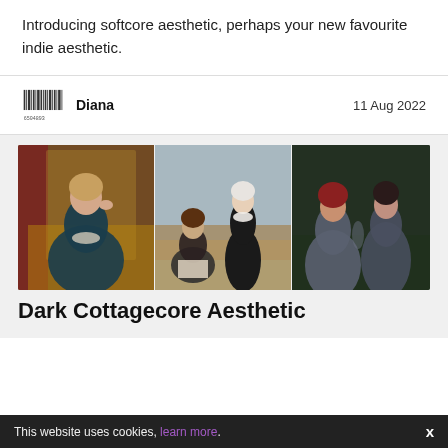Introducing softcore aesthetic, perhaps your new favourite indie aesthetic.
Diana   11 Aug 2022
[Figure (photo): Three-panel photo collage: left panel shows a woman in a dark velvet lace dress seated in an ornate golden chair; center panel shows two women outdoors near water, one standing in black dress and one sitting reading; right panel shows two women in dark grey dresses standing in front of dark foliage.]
Dark Cottagecore Aesthetic
This website uses cookies, learn more.